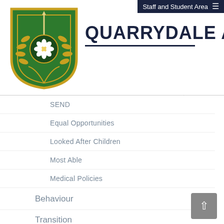Staff and Student Area ≡
[Figure (logo): Quarrydale Academy shield logo — green shield with white rose, laurel branches, and sword]
QUARRYDALE ACADEMY
SEND
Equal Opportunities
Looked After Children
Most Able
Medical Policies
Behaviour
Transition
Careers Guidance
Useful Links